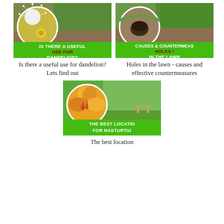[Figure (photo): Article card image for dandelion article showing dandelion puffball and yellow flowers with grass background. Banner text: IS THERE A USEFUL USE FOR DANDELION?]
Is there a useful use for dandelion? Lets find out
[Figure (photo): Article card image showing holes in lawn with rolled turf. Banner text: CAUSES & COUNTERMEASURES HOLES ! IN THE LAWN]
Holes in the lawn - causes and effective countermeasures
[Figure (photo): Article card image for nasturtium article showing orange nasturtium flower with garden background. Banner text: THE BEST LOCATION FOR NASTURTIUM]
The best location